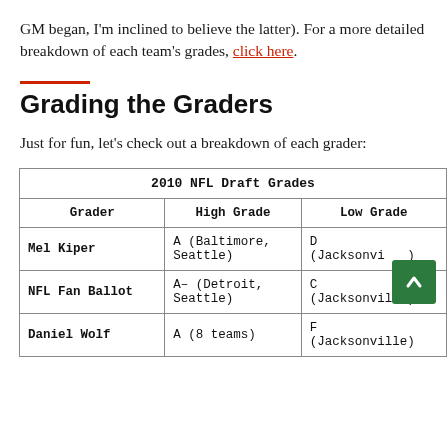GM began, I'm inclined to believe the latter). For a more detailed breakdown of each team's grades, click here.
Grading the Graders
Just for fun, let's check out a breakdown of each grader:
| Grader | High Grade | Low Grade |
| --- | --- | --- |
| Mel Kiper | A (Baltimore, Seattle) | D (Jacksonville) |
| NFL Fan Ballot | A– (Detroit, Seattle) | C (Jacksonville) |
| Daniel Wolf | A (8 teams) | F (Jacksonville) |